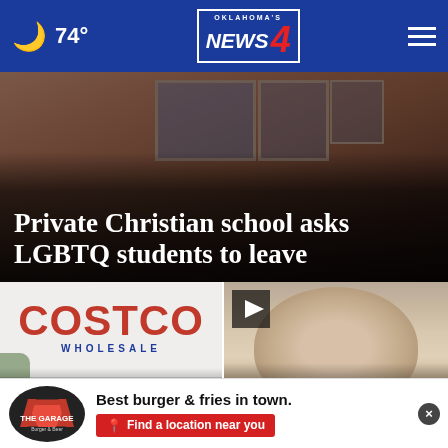74° Oklahoma's News 4
[Figure (photo): Exterior of brick building with windows, dark scene. Headline overlay: 'Private Christian school asks LGBTQ students to leave']
Private Christian school asks LGBTQ students to leave
[Figure (photo): Costco Wholesale store sign. Headline overlay: 'How to get 'free' Costco Club memberships']
How to get 'free' Costco Club memberships
[Figure (photo): Mugshot of elderly man. Headline overlay: 'Florida trucker arrested in 1996 case']
Florida trucker arrested in 1996 case
Best burger & fries in town. Find a location near you